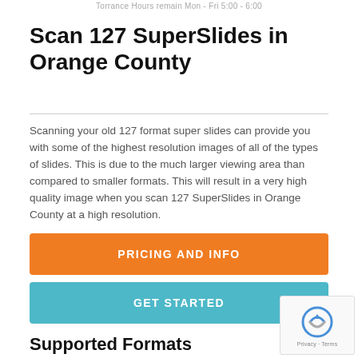Torrance Hours remain Mon - Fri 5:00 - 6:00
Scan 127 SuperSlides in Orange County
Scanning your old 127 format super slides can provide you with some of the highest resolution images of all of the types of slides. This is due to the much larger viewing area than compared to smaller formats. This will result in a very high quality image when you scan 127 SuperSlides in Orange County at a high resolution.
PRICING AND INFO
GET STARTED
Supported Formats